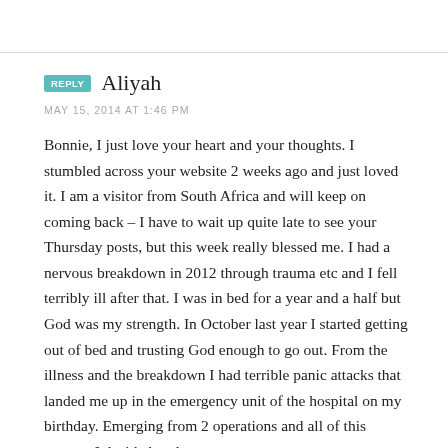REPLY  Aliyah
MAY 15, 2014 AT 1:46 PM
Bonnie, I just love your heart and your thoughts. I stumbled across your website 2 weeks ago and just loved it. I am a visitor from South Africa and will keep on coming back – I have to wait up quite late to see your Thursday posts, but this week really blessed me. I had a nervous breakdown in 2012 through trauma etc and I fell terribly ill after that. I was in bed for a year and a half but God was my strength. In October last year I started getting out of bed and trusting God enough to go out. From the illness and the breakdown I had terrible panic attacks that landed me up in the emergency unit of the hospital on my birthday. Emerging from 2 operations and all of this trauma, I decided to do